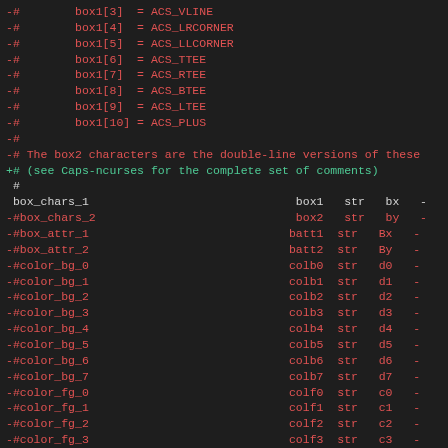Code diff showing box character and color terminal capability definitions